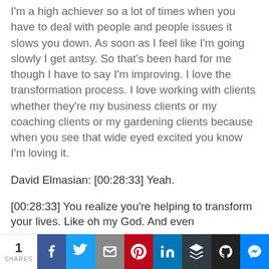I'm a high achiever so a lot of times when you have to deal with people and people issues it slows you down. As soon as I feel like I'm going slowly I get antsy. So that's been hard for me though I have to say I'm improving. I love the transformation process. I love working with clients whether they're my business clients or my coaching clients or my gardening clients because when you see that wide eyed excited you know I'm loving it.
David Elmasian: [00:28:33] Yeah.
[00:28:33] You realize you're helping to transform your lives. Like oh my God. And even
1 SHARES | Facebook | Twitter | Email | Pinterest | LinkedIn | Buffer | Ghost | Messenger